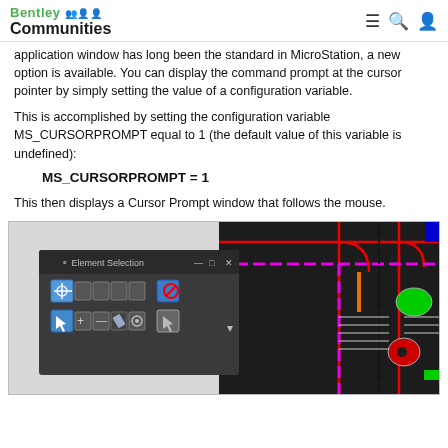Bentley Communities
application window has long been the standard in MicroStation, a new option is available. You can display the command prompt at the cursor pointer by simply setting the value of a configuration variable.
This is accomplished by setting the configuration variable MS_CURSORPROMPT equal to 1 (the default value of this variable is undefined):
MS_CURSORPROMPT = 1
This then displays a Cursor Prompt window that follows the mouse.
[Figure (screenshot): Screenshot showing MicroStation Element Selection dialog over a CAD drawing with colored lines and circuit-like elements]